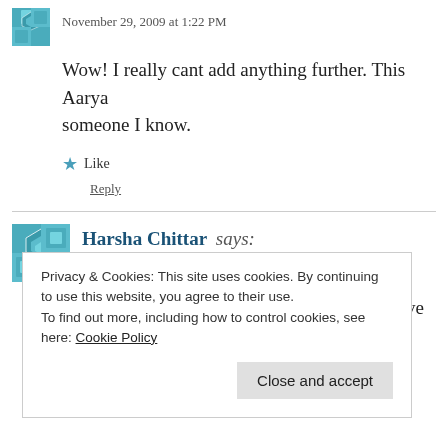November 29, 2009 at 1:22 PM
Wow! I really cant add anything further. This Aarya... someone I know.
Like
Reply
Harsha Chittar says:
November 29, 2009 at 3:40 PM
How did the mom go from showing lots love and af...
Privacy & Cookies: This site uses cookies. By continuing to use this website, you agree to their use. To find out more, including how to control cookies, see here: Cookie Policy
Close and accept